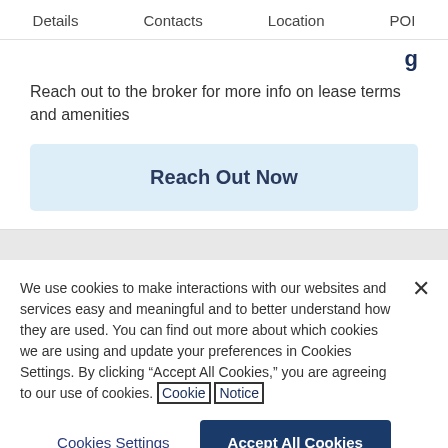Details   Contacts   Location   POI
Reach out to the broker for more info on lease terms and amenities
Reach Out Now
We use cookies to make interactions with our websites and services easy and meaningful and to better understand how they are used. You can find out more about which cookies we are using and update your preferences in Cookies Settings. By clicking “Accept All Cookies,” you are agreeing to our use of cookies. Cookie Notice
Cookies Settings
Accept All Cookies